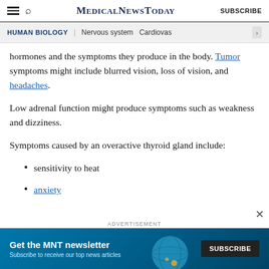MedicalNewsToday | SUBSCRIBE
HUMAN BIOLOGY | Nervous system | Cardiovas
hormones and the symptoms they produce in the body. Tumor symptoms might include blurred vision, loss of vision, and headaches.
Low adrenal function might produce symptoms such as weakness and dizziness.
Symptoms caused by an overactive thyroid gland include:
sensitivity to heat
anxiety
ADVERTISEMENT
[Figure (other): MNT newsletter advertisement banner with subscribe button and globe graphic]